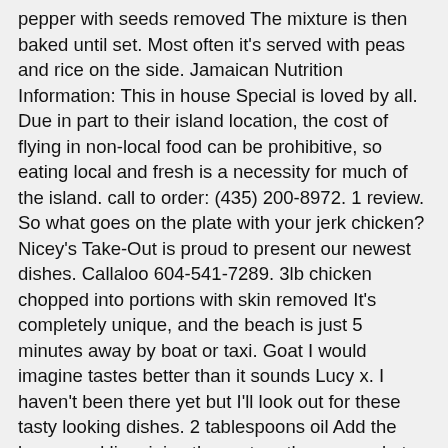pepper with seeds removed The mixture is then baked until set. Most often it's served with peas and rice on the side. Jamaican Nutrition Information: This in house Special is loved by all. Due in part to their island location, the cost of flying in non-local food can be prohibitive, so eating local and fresh is a necessity for much of the island. call to order: (435) 200-8972. 1 review. So what goes on the plate with your jerk chicken? Nicey's Take-Out is proud to present our newest dishes. Callaloo 604-541-7289. 3lb chicken chopped into portions with skin removed It's completely unique, and the beach is just 5 minutes away by boat or taxi. Goat I would imagine tastes better than it sounds Lucy x. I haven't been there yet but I'll look out for these tasty looking dishes. 2 tablespoons oil Add the beans and lime juice then return the casserole to the oven without the lid on for 5 minutes more. Return to the frying pan and add the broad beans, simmering on medium heat. It's Jamaica's version of sweet white bread and is a real filler-upper, so bring your appetite! Authentic and traditional Jamaican food was born out of necessity and is the epitome of local – whatever's fresh and locally available is what's on the Jamaican menu. PGs Jobs & Opportunities